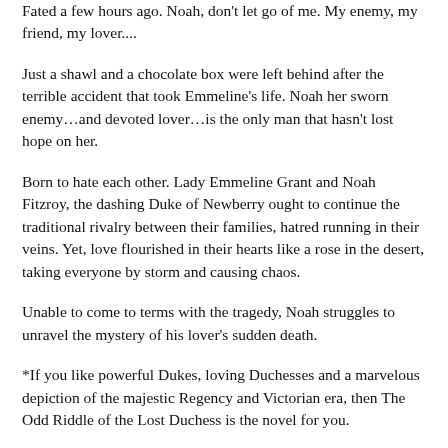Fated a few hours ago. Noah, don't let go of me. My enemy, my friend, my lover....
Just a shawl and a chocolate box were left behind after the terrible accident that took Emmeline's life. Noah her sworn enemy…and devoted lover…is the only man that hasn't lost hope on her.
Born to hate each other. Lady Emmeline Grant and Noah Fitzroy, the dashing Duke of Newberry ought to continue the traditional rivalry between their families, hatred running in their veins. Yet, love flourished in their hearts like a rose in the desert, taking everyone by storm and causing chaos.
Unable to come to terms with the tragedy, Noah struggles to unravel the mystery of his lover's sudden death.
*If you like powerful Dukes, loving Duchesses and a marvelous depiction of the majestic Regency and Victorian era, then The Odd Riddle of the Lost Duchess is the novel for you.
Emma Linfield's 8th book is a historical Regency romance